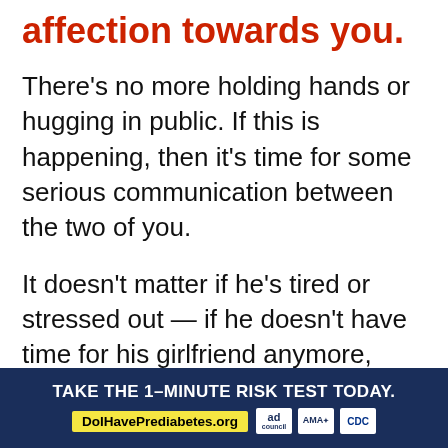affection towards you.
There’s no more holding hands or hugging in public. If this is happening, then it’s time for some serious communication between the two of you.
It doesn’t matter if he’s tired or stressed out — if he doesn’t have time for his girlfriend anymore, something needs to change.
10. He makes plans with friends wit…
[Figure (infographic): Advertisement banner: 'TAKE THE 1-MINUTE RISK TEST TODAY.' with URL DolHavePrediabetes.org and logos for Ad Council, AMA, and CDC on dark navy background.]